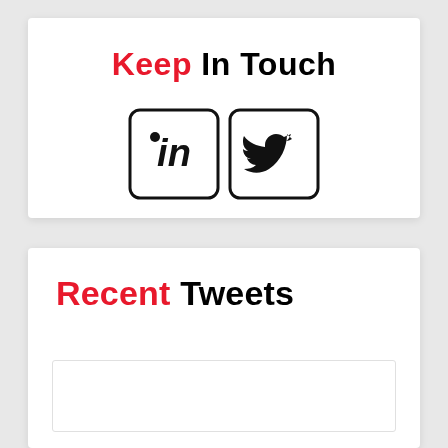Keep In Touch
[Figure (illustration): LinkedIn and Twitter social media icons side by side in rounded square outlines]
Recent Tweets